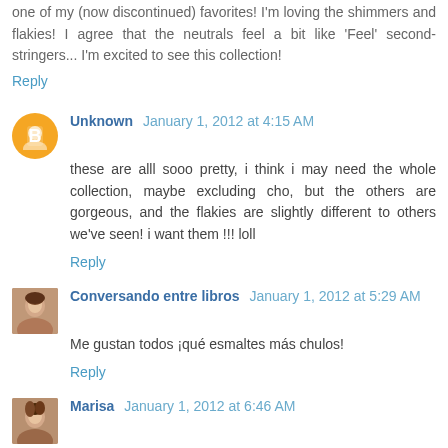one of my (now discontinued) favorites! I'm loving the shimmers and flakies! I agree that the neutrals feel a bit like 'Feel' second-stringers... I'm excited to see this collection!
Reply
Unknown  January 1, 2012 at 4:15 AM
these are alll sooo pretty, i think i may need the whole collection, maybe excluding cho, but the others are gorgeous, and the flakies are slightly different to others we've seen! i want them !!! loll
Reply
Conversando entre libros  January 1, 2012 at 5:29 AM
Me gustan todos ¡qué esmaltes más chulos!
Reply
Marisa  January 1, 2012 at 6:46 AM